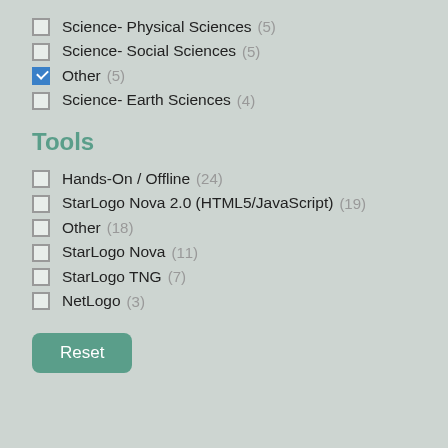Science- Physical Sciences (5)
Science- Social Sciences (5)
Other (5) [checked]
Science- Earth Sciences (4)
Tools
Hands-On / Offline (24)
StarLogo Nova 2.0 (HTML5/JavaScript) (19)
Other (18)
StarLogo Nova (11)
StarLogo TNG (7)
NetLogo (3)
Reset